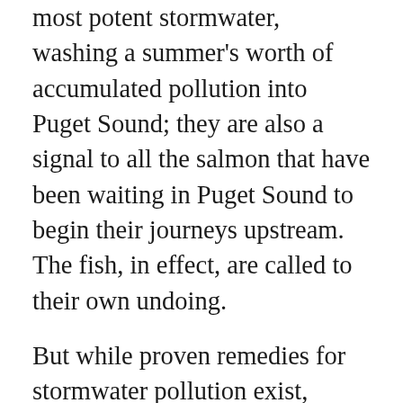most potent stormwater, washing a summer's worth of accumulated pollution into Puget Sound; they are also a signal to all the salmon that have been waiting in Puget Sound to begin their journeys upstream. The fish, in effect, are called to their own undoing.
But while proven remedies for stormwater pollution exist, including everything from grassy swales along highways that filter out pollutants to more regular street sweeping, these remedies are not cheap. According to one estimate, to restore Puget Sound to a point that it might function in something approximating a natural state could theoretically cost a staggering $400 billion over three decades (admittedly an extreme amount according to